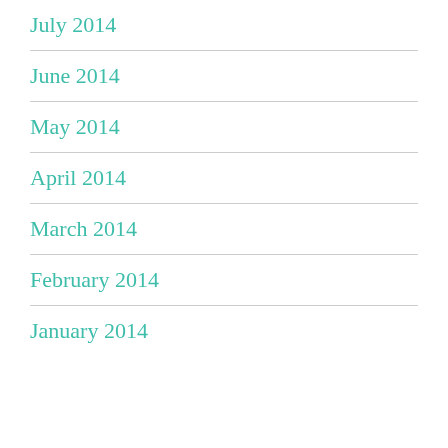July 2014
June 2014
May 2014
April 2014
March 2014
February 2014
January 2014